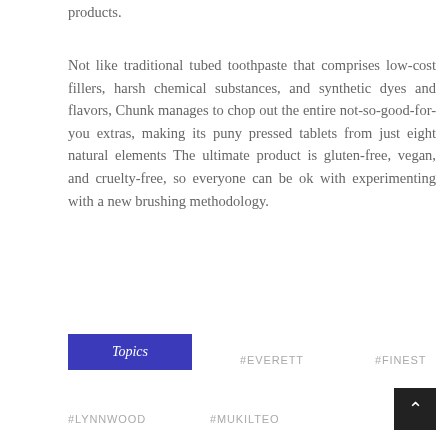products.
Not like traditional tubed toothpaste that comprises low-cost fillers, harsh chemical substances, and synthetic dyes and flavors, Chunk manages to chop out the entire not-so-good-for-you extras, making its puny pressed tablets from just eight natural elements The ultimate product is gluten-free, vegan, and cruelty-free, so everyone can be ok with experimenting with a new brushing methodology.
Topics  #EVERETT  #FINEST
#LYNNWOOD  #MUKILTEO